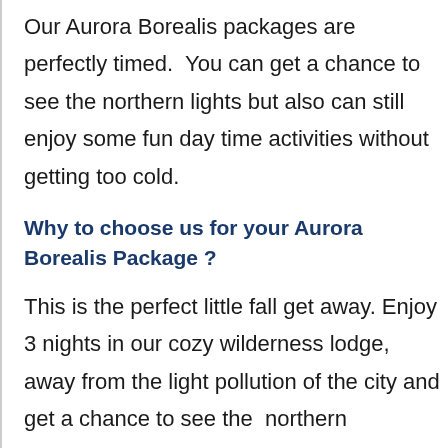Our Aurora Borealis packages are perfectly timed.  You can get a chance to see the northern lights but also can still enjoy some fun day time activities without getting too cold.
Why to choose us for your Aurora Borealis Package ?
This is the perfect little fall get away. Enjoy 3 nights in our cozy wilderness lodge, away from the light pollution of the city and get a chance to see the  northern